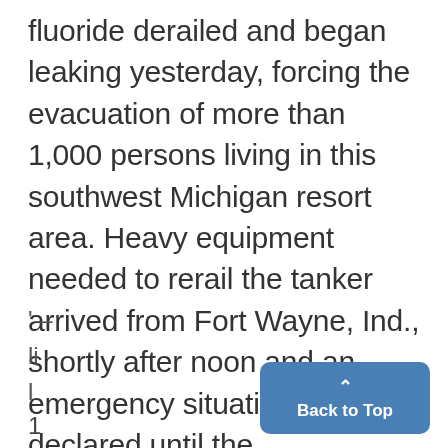fluoride derailed and began leaking yesterday, forcing the evacuation of more than 1,000 persons living in this southwest Michigan resort area. Heavy equipment needed to rerail the tanker arrived from Fort Wayne, Ind., shortly after noon and an emergency situation was declared until the
' –
li
l
1